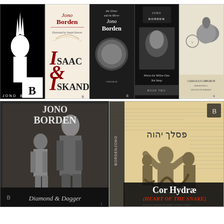[Figure (photo): A grid of book covers by Jono Borden. Top row: 5 book covers including silhouette cover, Isaac & Iskandar, The Silver and the Mirror, Where the Willow Dies, and Catalogus Librorum. Bottom row: Two larger covers — Diamond & Dagger (black and white Victorian photograph) and Cor Hydrae / Heart of the Snake (illustrated manuscript with Laocoön sculpture).]